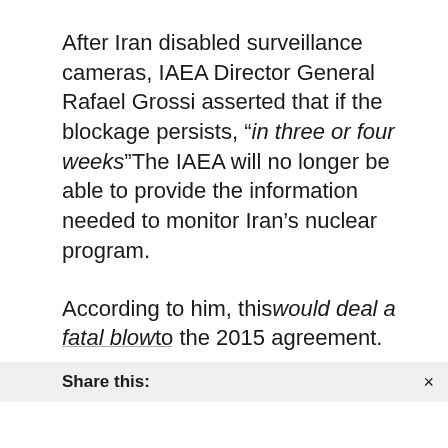After Iran disabled surveillance cameras, IAEA Director General Rafael Grossi asserted that if the blockage persists, “in three or four weeks”The IAEA will no longer be able to provide the information needed to monitor Iran’s nuclear program.
According to him, this would deal a fatal blow to the 2015 agreement.
Share this: ×